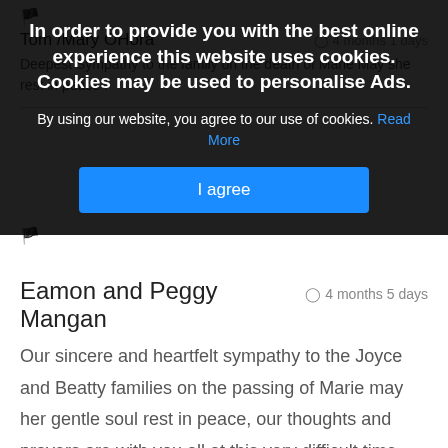In order to provide you with the best online experience this website uses cookies. Cookies may be used to personalise Ads.
By using our website, you agree to our use of cookies. Read More
I agree
Tom /Mary OHora
4 months 1 days
Deepest Sympathy to the family on the death of Marie May she rest in peace .
Eamon and Peggy Mangan
4 months 5 days
Our sincere and heartfelt sympathy to the Joyce and Beatty families on the passing of Marie may her gentle soul rest in peace, our thoughts and prayers are with you all at this very difficult time.